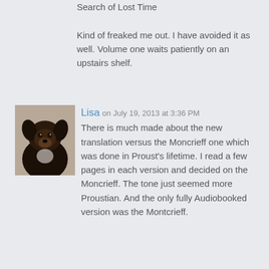Search of Lost Time

Kind of freaked me out. I have avoided it as well. Volume one waits patiently on an upstairs shelf.
[Figure (photo): Avatar photo of a dark-colored dog, appearing to be a black and brown puppy or young dog looking at the camera]
Lisa on July 19, 2013 at 3:36 PM
There is much made about the new translation versus the Moncrieff one which was done in Proust's lifetime. I read a few pages in each version and decided on the Moncrieff. The tone just seemed more Proustian. And the only fully Audiobooked version was the Montcrieff.